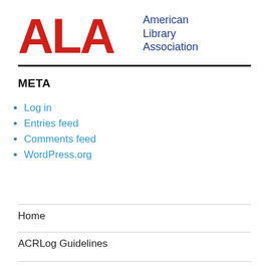[Figure (logo): American Library Association (ALA) logo with large red ALA text and blue 'American Library Association' text]
META
Log in
Entries feed
Comments feed
WordPress.org
Home
ACRLog Guidelines